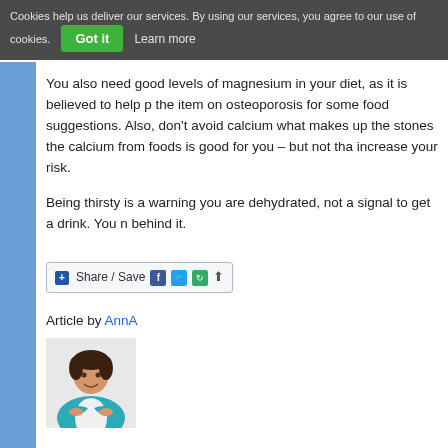Cookies help us deliver our services. By using our services, you agree to our use of cookies. Got it   Learn more
You also need good levels of magnesium in your diet, as it is believed to help p... the item on osteoporosis for some food suggestions. Also, don't avoid calcium... what makes up the stones the calcium from foods is good for you – but not tha... increase your risk.
Being thirsty is a warning you are dehydrated, not a signal to get a drink. You n... behind it.
[Figure (other): Share / Save social media button widget with Facebook, Twitter, and other sharing icons]
Article by AnnA
[Figure (photo): Photo of author AnnA, a woman with short dark hair wearing a teal/blue cardigan, smiling with arms crossed]